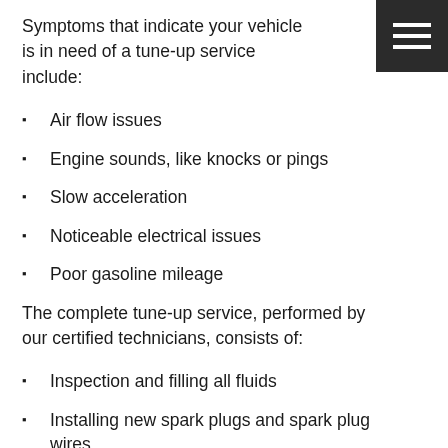Symptoms that indicate your vehicle is in need of a tune-up service include:
Air flow issues
Engine sounds, like knocks or pings
Slow acceleration
Noticeable electrical issues
Poor gasoline mileage
The complete tune-up service, performed by our certified technicians, consists of:
Inspection and filling all fluids
Installing new spark plugs and spark plug wires
Switching out Crankcase Ventilation (PCV) valve, if